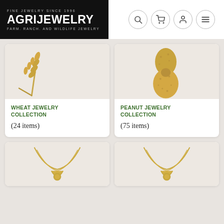[Figure (logo): AgriJewelry logo — black background with white text. Top line: FINE JEWELRY SINCE 1996. Middle: AGRIJEWELRY in large bold white. Bottom: FARM. RANCH. AND WILDLIFE JEWELRY]
[Figure (photo): Gold wheat stalk jewelry piece on white/light background]
WHEAT JEWELRY COLLECTION
(24 items)
[Figure (photo): Gold peanut jewelry piece on white/light background]
PEANUT JEWELRY COLLECTION
(75 items)
[Figure (photo): Gold necklace/pendant jewelry piece on light background (bottom left, partially visible)]
[Figure (photo): Gold necklace/pendant jewelry piece on light background (bottom right, partially visible)]